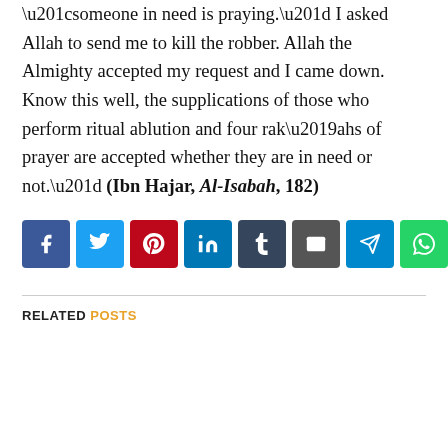“someone in need is praying.” I asked Allah to send me to kill the robber. Allah the Almighty accepted my request and I came down. Know this well, the supplications of those who perform ritual ablution and four rak’ahs of prayer are accepted whether they are in need or not.” (Ibn Hajar, Al-Isabah, 182)
[Figure (infographic): Social media share buttons: Facebook (blue), Twitter (light blue), Pinterest (red), LinkedIn (dark blue), Tumblr (dark slate), Email (dark grey), Telegram (cyan blue), WhatsApp (green)]
RELATED POSTS